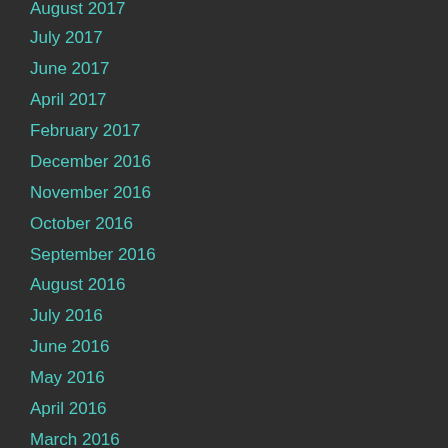August 2017
July 2017
June 2017
April 2017
February 2017
December 2016
November 2016
October 2016
September 2016
August 2016
July 2016
June 2016
May 2016
April 2016
March 2016
February 2016
January 2016
December 2015